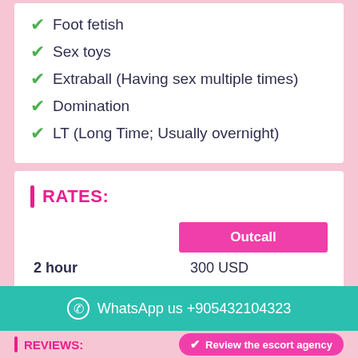Foot fetish
Sex toys
Extraball (Having sex multiple times)
Domination
LT (Long Time; Usually overnight)
RATES:
|  | Outcall |
| --- | --- |
| 2 hour | 300 USD |
| 6 hour | 600 USD |
| 12 hour | 800 USD |
WhatsApp us +905432104323
REVIEWS:
Review the escort agency